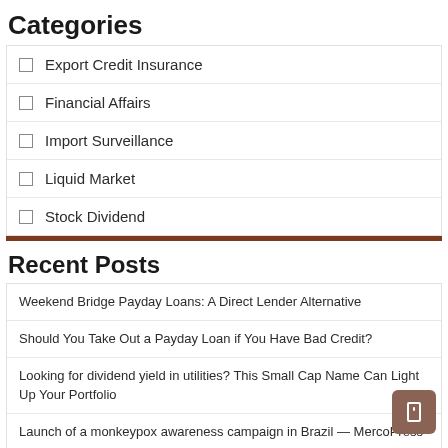Categories
Export Credit Insurance
Financial Affairs
Import Surveillance
Liquid Market
Stock Dividend
Recent Posts
Weekend Bridge Payday Loans: A Direct Lender Alternative
Should You Take Out a Payday Loan if You Have Bad Credit?
Looking for dividend yield in utilities? This Small Cap Name Can Light Up Your Portfolio
Launch of a monkeypox awareness campaign in Brazil — MercoPress
Penalties/Export Highlights [As of August 18, 2022]